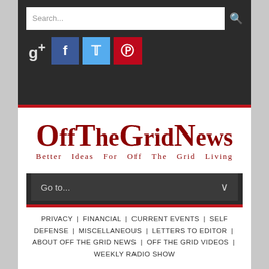Search...
[Figure (screenshot): Social media icons: Google+, Facebook, Twitter, Pinterest]
OffTheGridNews — Better Ideas For Off The Grid Living
Go to...
PRIVACY | FINANCIAL | CURRENT EVENTS | SELF DEFENSE | MISCELLANEOUS | LETTERS TO EDITOR | ABOUT OFF THE GRID NEWS | OFF THE GRID VIDEOS | WEEKLY RADIO SHOW
80-Year-Old Man